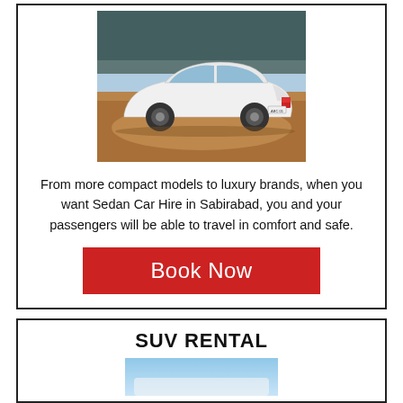[Figure (photo): White Toyota Corolla sedan photographed from rear-left angle in an outdoor bush setting with dirt ground and trees in background]
From more compact models to luxury brands, when you want Sedan Car Hire in Sabirabad, you and your passengers will be able to travel in comfort and safe.
Book Now
SUV RENTAL
[Figure (photo): Partial photo of an SUV at the bottom, cut off]